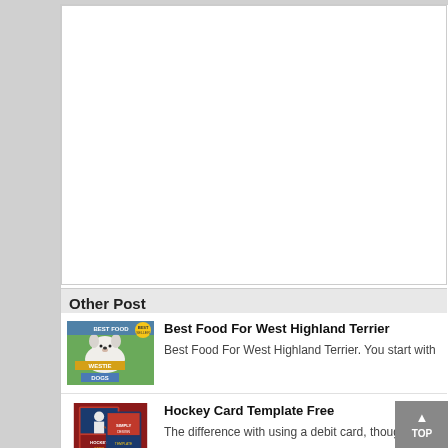[Figure (other): Large white advertisement/content area (blank)]
Other Post
[Figure (illustration): Book cover thumbnail: Best Food for Westie Dogs, showing a West Highland Terrier dog]
Best Food For West Highland Terrier
Best Food For West Highland Terrier. You start with
[Figure (illustration): Thumbnail image: Hockey Card Template Free, showing hockey card designs]
Hockey Card Template Free
The difference with using a debit card, though, is